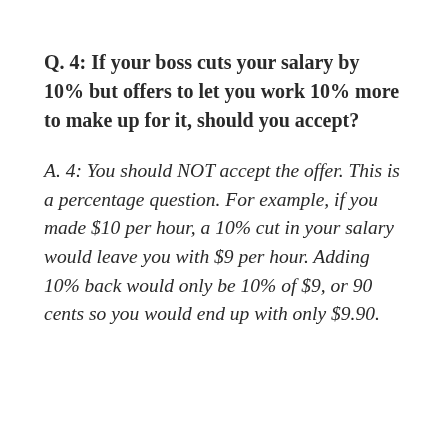Q.  4:  If your boss cuts your salary by 10% but offers to let you work 10% more to make up for it, should you accept?
A.  4:  You should NOT accept the offer. This is a percentage question. For example, if you made $10 per hour, a 10% cut in your salary would leave you with $9 per hour. Adding 10% back would only be 10% of $9, or 90 cents so you would end up with only $9.90.